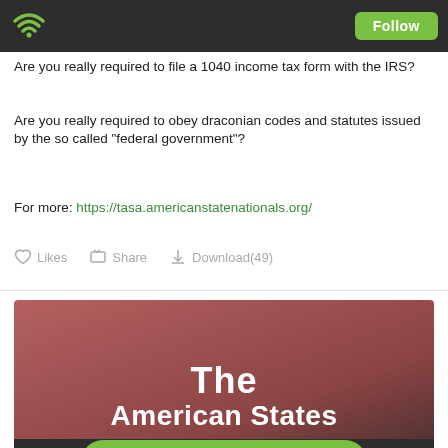Follow
Are you really required to file a 1040 income tax form with the IRS?
Are you really required to obey draconian codes and statutes issued by the so called "federal government"?
For more: https://tasa.americanstatenationals.org/
Likes  Share  Download(49)
[Figure (screenshot): Podcast cover image for 'The American States' with reddish-brown gradient background and white bold text. Play this podcast on Podbean App button at the bottom.]